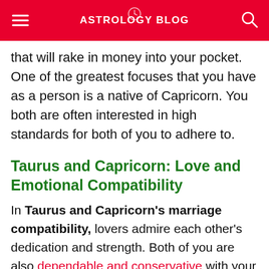ASTROLOGY BLOG
that will rake in money into your pocket. One of the greatest focuses that you have as a person is a native of Capricorn. You both are often interested in high standards for both of you to adhere to.
Taurus and Capricorn: Love and Emotional Compatibility
In Taurus and Capricorn's marriage compatibility, lovers admire each other's dedication and strength. Both of you are also dependable and conservative with your approach to things. You often take a realistic approach to any problem that could come up